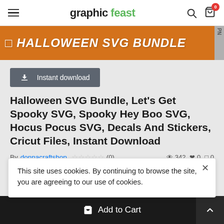graphic feast
[Figure (illustration): Orange banner with white bold italic text reading 'HALLOWEEN SVG BUNDLE' with a small 'PN' label on the right edge]
Instant download
Halloween SVG Bundle, Let's Get Spooky SVG, Spooky Hey Boo SVG, Hocus Pocus SVG, Decals And Stickers, Cricut Files, Instant Download
By donnacraftshop ☆☆☆☆☆ (0) 👁 342 ♥ 0 💬 0
$2.99 $1.50 Sale — Ask Question
This site uses cookies. By continuing to browse the site, you are agreeing to our use of cookies.
Add to Cart